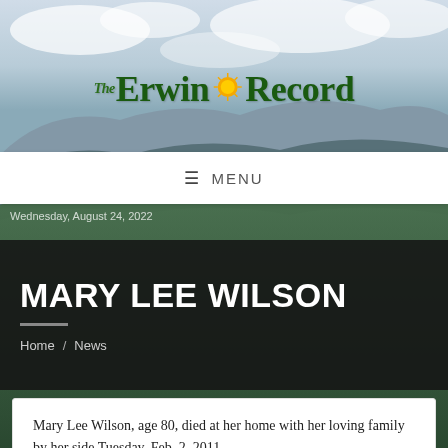[Figure (photo): Mountain landscape background with blue sky, clouds, and green forested hills]
The Erwin Record
≡ MENU
Wednesday, August 24, 2022
MARY LEE WILSON
Home / News
Mary Lee Wilson, age 80, died at her home with her loving family by her side Tuesday, Feb. 2, 2011.